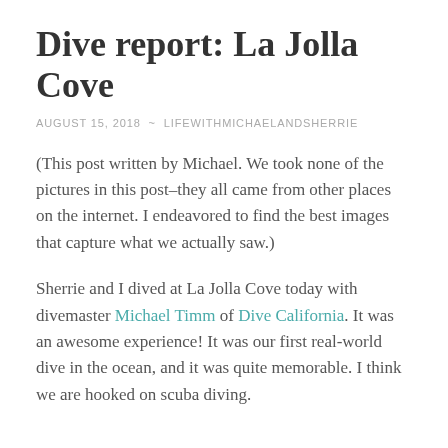Dive report: La Jolla Cove
AUGUST 15, 2018 ~ LIFEWITHMICHAELANDSHERRIE
(This post written by Michael. We took none of the pictures in this post–they all came from other places on the internet. I endeavored to find the best images that capture what we actually saw.)
Sherrie and I dived at La Jolla Cove today with divemaster Michael Timm of Dive California. It was an awesome experience! It was our first real-world dive in the ocean, and it was quite memorable. I think we are hooked on scuba diving.